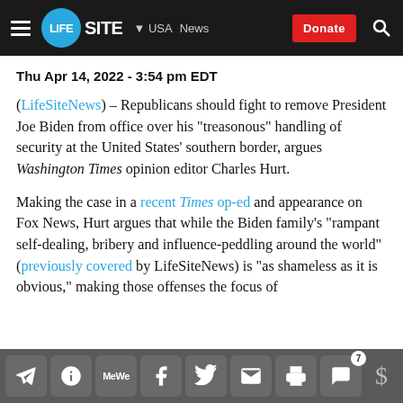LifeSite – USA News | Donate
Thu Apr 14, 2022 - 3:54 pm EDT
(LifeSiteNews) – Republicans should fight to remove President Joe Biden from office over his "treasonous" handling of security at the United States' southern border, argues Washington Times opinion editor Charles Hurt.
Making the case in a recent Times op-ed and appearance on Fox News, Hurt argues that while the Biden family's "rampant self-dealing, bribery and influence-peddling around the world" (previously covered by LifeSiteNews) is "as shameless as it is obvious," making those offenses the focus of